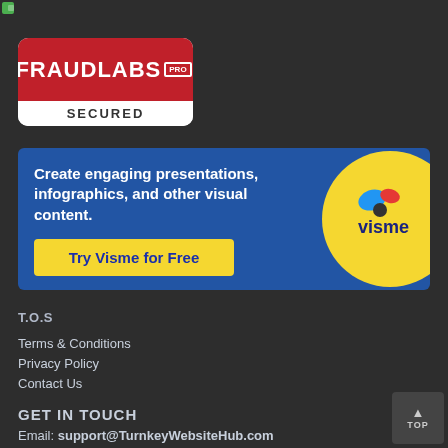[Figure (logo): Small green icon at top left corner]
[Figure (logo): FraudLabs PRO SECURED badge - red top with white FRAUDLABS PRO text, white bottom with SECURED text]
[Figure (infographic): Visme advertisement banner: blue background with text 'Create engaging presentations, infographics, and other visual content.' and yellow 'Try Visme for Free' button, yellow circle with Visme logo on right]
T.O.S
Terms & Conditions
Privacy Policy
Contact Us
GET IN TOUCH
Email: support@TurnkeyWebsiteHub.com